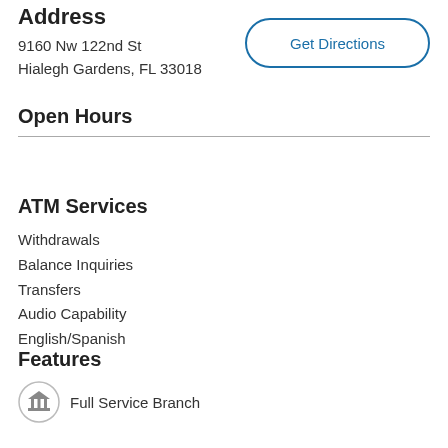Address
9160 Nw 122nd St
Hialegh Gardens, FL 33018
Get Directions
Open Hours
ATM Services
Withdrawals
Balance Inquiries
Transfers
Audio Capability
English/Spanish
Features
Full Service Branch